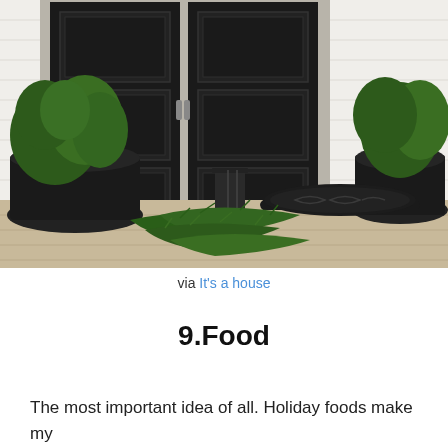[Figure (photo): A holiday-decorated front porch with large black double doors, two large black planters with green shrubs/evergreens on either side, a black semicircular decorative doormat, a small wrought-iron lantern, and loose pine boughs scattered on the wooden porch floor. White siding visible in background.]
via It's a house
9.Food
The most important idea of all. Holiday foods make my